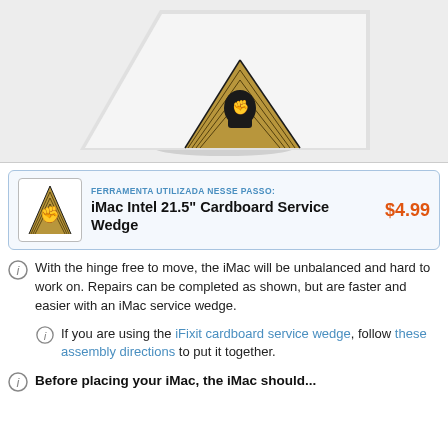[Figure (photo): Photo of an iMac tilted back being propped up by a wooden cardboard service wedge with a fist/circuit board design engraved on it]
FERRAMENTA UTILIZADA NESSE PASSO: iMac Intel 21.5" Cardboard Service Wedge $4.99
With the hinge free to move, the iMac will be unbalanced and hard to work on. Repairs can be completed as shown, but are faster and easier with an iMac service wedge.
If you are using the iFixit cardboard service wedge, follow these assembly directions to put it together.
Before placing your iMac, the iMac should...